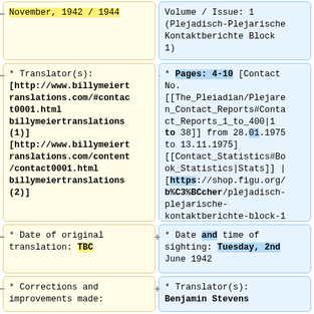November, 1942 / 1944
Volume / Issue: 1 (Plejadisch-Plejarische Kontaktberichte Block 1)
* Translator(s): [http://www.billymeiertranslations.com/#contact0001.html billymeiertranslations (1)] [http://www.billymeiertranslations.com/content/contact0001.html billymeiertranslations (2)]
* Pages: 4-10 [Contact No. [[The_Pleiadian/Plejaren_Contact_Reports#Contact_Reports_1_to_400|1 to 38]] from 28.01.1975 to 13.11.1975] [[Contact_Statistics#Book_Statistics|Stats]] | [https://shop.figu.org/b%C3%BCcher/plejadisch-plejarische-kontaktberichte-block-1 Source]<br>
* Date of original translation: TBC
* Date and time of sighting: Tuesday, 2nd June 1942
* Corrections and improvements made:
* Translator(s): Benjamin Stevens